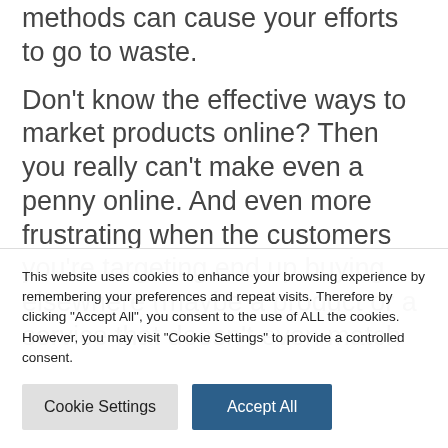methods can cause your efforts to go to waste.
Don't know the effective ways to market products online? Then you really can't make even a penny online. And even more frustrating when the customers you're targeting end up buying elsewhere (maybe a product or a service that doesn't even match
This website uses cookies to enhance your browsing experience by remembering your preferences and repeat visits. Therefore by clicking "Accept All", you consent to the use of ALL the cookies. However, you may visit "Cookie Settings" to provide a controlled consent.